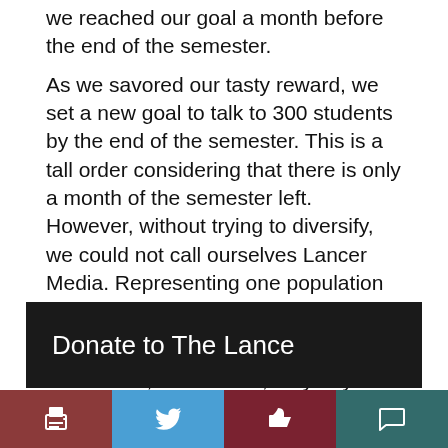we reached our goal a month before the end of the semester.
As we savored our tasty reward, we set a new goal to talk to 300 students by the end of the semester. This is a tall order considering that there is only a month of the semester left. However, without trying to diversify, we could not call ourselves Lancer Media. Representing one population of people does not count for the entire school.
At this rate, who knows, maybe you’ll be the next person featured in The Lance!
apple pie
diversity
goals
Pie-gress
Donate to The Lance
[Figure (other): Bottom navigation bar with print, Twitter, like/recommend, and comment buttons]